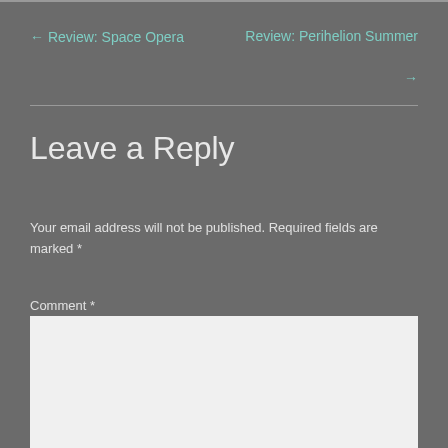← Review: Space Opera
Review: Perihelion Summer →
Leave a Reply
Your email address will not be published. Required fields are marked *
Comment *